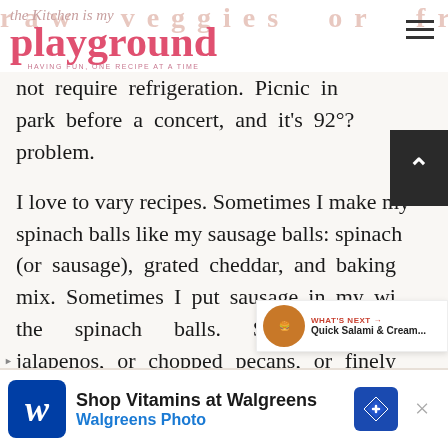the Kitchen is my playground — HAVING FUN, ONE RECIPE AT A TIME
not require refrigeration. Picnic in park before a concert, and it's 92°? problem.
I love to vary recipes. Sometimes I make my spinach balls like my sausage balls: spinach (or sausage), grated cheddar, and baking mix. Sometimes I put sausage in my w... the spinach balls. Sometimes fi... jalapenos, or chopped pecans, or finely diced bell pepper just for a bit of
Shop Vitamins at Walgreens — Walgreens Photo